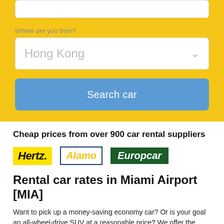[Figure (screenshot): Car rental search form on yellow background with a text input at top, a 'Where are you from?' label with dropdown showing 'Hong Kong', and a blue 'Search car' button]
Cheap prices from over 900 car rental suppliers
[Figure (logo): Three car rental company logos: Hertz (yellow background, black italic text), Alamo (white background with dark blue border, yellow italic text), Europcar (dark green background, white italic text)]
Rental car rates in Miami Airport [MIA]
Want to pick up a money-saving economy car? Or is your goal an all-wheel-drive SUV at a reasonable price? We offer the lowest car rental prices in Miami, Florida starting from $15 per